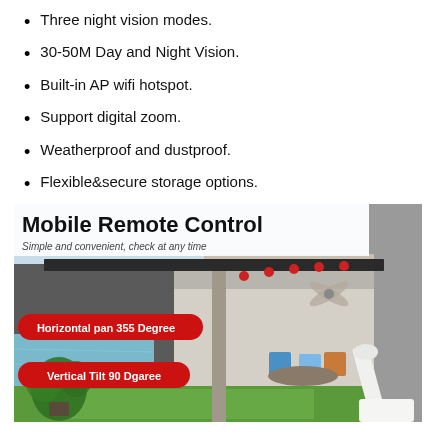Three night vision modes.
30-50M Day and Night Vision.
Built-in AP wifi hotspot.
Support digital zoom.
Weatherproof and dustproof.
Flexible&secure storage options.
[Figure (photo): Mobile Remote Control promotional image showing a modern house outdoor area with a pool and patio. Text overlays: 'Mobile Remote Control', 'Simple and convenient, check at any time', 'Horizontal pan 355 Degree', 'Vertical Tilt 90 Dgaree'. A white WiFi camera antenna is visible in lower right.]